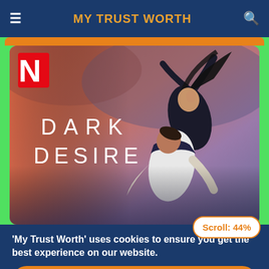MY TRUST WORTH
[Figure (screenshot): Netflix show banner for 'Dark Desire' showing two people in a dramatic embrace/lift pose against a reddish-purple sky background, with the Netflix 'N' logo in the top left corner and the text 'DARK DESIRE' in white letters.]
Scroll: 44%
'My Trust Worth' uses cookies to ensure you get the best experience on our website.
Okay!